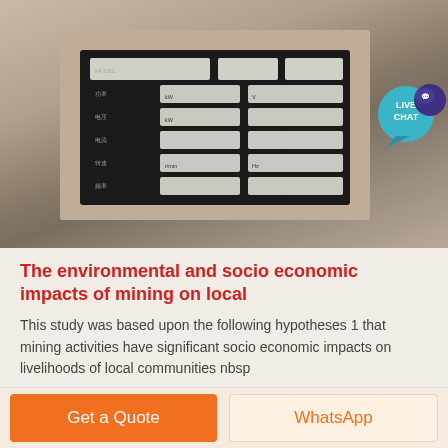[Figure (photo): A black metal equipment nameplate with Chinese characters mounted on a light-colored wall surface, photographed at an angle. The plate has a grid of labeled fields.]
The environmental and socio economic impacts of mining on local
This study was based upon the following hypotheses 1 that mining activities have significant socio economic impacts on livelihoods of local communities nbsp